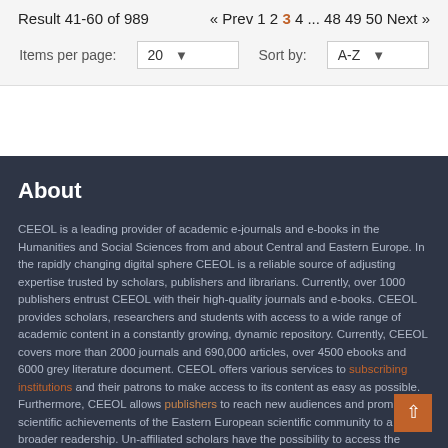Result 41-60 of 989   « Prev 1 2 3 4 ... 48 49 50 Next »
Items per page: 20   Sort by: A-Z
About
CEEOL is a leading provider of academic e-journals and e-books in the Humanities and Social Sciences from and about Central and Eastern Europe. In the rapidly changing digital sphere CEEOL is a reliable source of adjusting expertise trusted by scholars, publishers and librarians. Currently, over 1000 publishers entrust CEEOL with their high-quality journals and e-books. CEEOL provides scholars, researchers and students with access to a wide range of academic content in a constantly growing, dynamic repository. Currently, CEEOL covers more than 2000 journals and 690,000 articles, over 4500 ebooks and 6000 grey literature document. CEEOL offers various services to subscribing institutions and their patrons to make access to its content as easy as possible. Furthermore, CEEOL allows publishers to reach new audiences and promote the scientific achievements of the Eastern European scientific community to a broader readership. Un-affiliated scholars have the possibility to access the repository by creating their personal user account